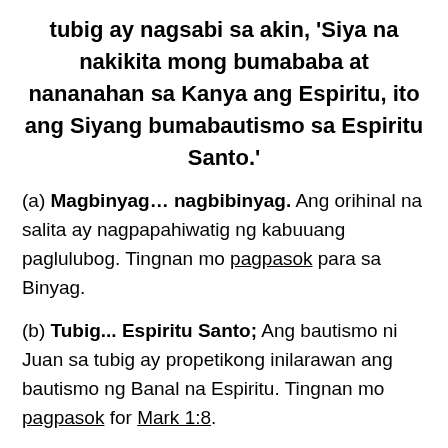tubig ay nagsabi sa akin, 'Siya na nakikita mong bumababa at nananahan sa Kanya ang Espiritu, ito ang Siyang bumabautismo sa Espiritu Santo.'
(a) Magbinyag… nagbibinyag. Ang orihinal na salita ay nagpapahiwatig ng kabuuang paglulubog. Tingnan mo pagpasok para sa Binyag.
(b) Tubig... Espiritu Santo; Ang bautismo ni Juan sa tubig ay propetikong inilarawan ang bautismo ng Banal na Espiritu. Tingnan mo pagpasok for Mark 1:8.